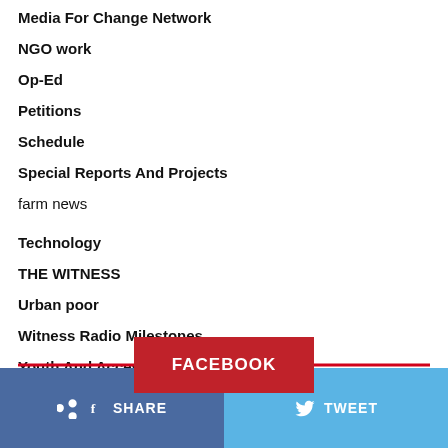Media For Change Network
NGO work
Op-Ed
Petitions
Schedule
Special Reports And Projects
farm news
Technology
THE WITNESS
Urban poor
Witness Radio Milestones
Youth And Access to Land
[Figure (other): FACEBOOK button with red horizontal line going through it]
SHARE   TWEET   ...